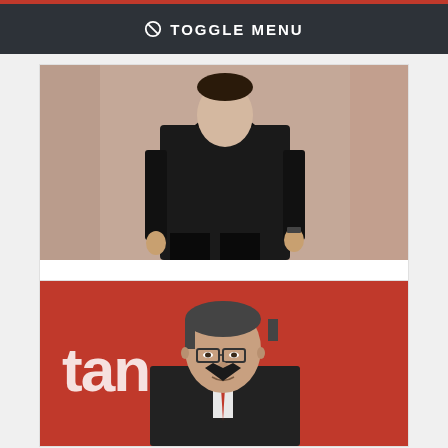TOGGLE MENU
[Figure (photo): Photo of Douglas Booth, a man in a black suit standing against a brownish background]
Douglas Booth
Vote for Douglas Booth
[Figure (photo): Photo of a man in a dark suit with a red tie speaking at a Santander event, red background with 'tan' text visible]